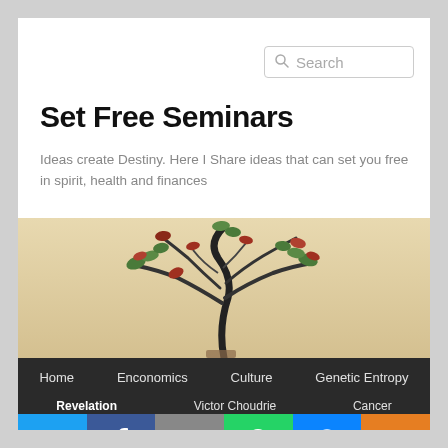Set Free Seminars
Ideas create Destiny. Here I Share ideas that can set you free in spirit, health and finances
[Figure (photo): Bonsai tree with dark twisted trunk and small green and red leaves against a warm beige/tan background]
Home   Enconomics   Culture   Genetic Entropy
Revelation   Victor Choudrie   Cancer
[Figure (infographic): Social sharing bar with icons: Twitter (blue), Facebook (dark blue), Email (gray), WhatsApp (green), SMS (blue), More (orange)]